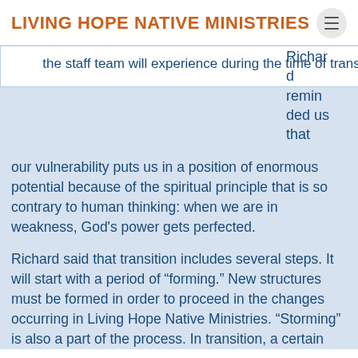LIVING HOPE NATIVE MINISTRIES
the staff team will experience during the time of transition.
Richard reminded us that our vulnerability puts us in a position of enormous potential because of the spiritual principle that is so contrary to human thinking: when we are in weakness, God's power gets perfected.
Richard said that transition includes several steps. It will start with a period of “forming.” New structures must be formed in order to proceed in the changes occurring in Living Hope Native Ministries. “Storming” is also a part of the process. In transition, a certain amount of chaos can be expected as we make changes and adjust to them. Eventually we move into “norm-